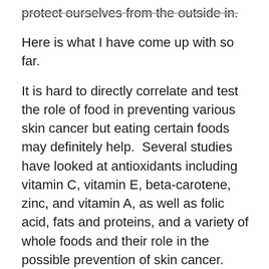protect ourselves from the outside in.
Here is what I have come up with so far.
It is hard to directly correlate and test the role of food in preventing various skin cancer but eating certain foods may definitely help.  Several studies have looked at antioxidants including vitamin C, vitamin E, beta-carotene, zinc, and vitamin A, as well as folic acid, fats and proteins, and a variety of whole foods and their role in the possible prevention of skin cancer. While results are not absolutely 100% clear, antioxidants may offer some protection from skin cancer.
substances that may help protect your skin from sun-related damage:
Apigenin, a flavonoid found in vegetables and fruits, including...